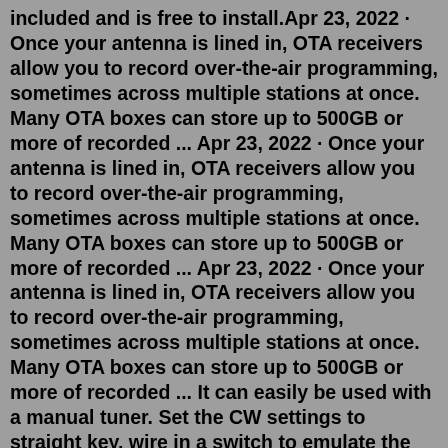included and is free to install.Apr 23, 2022 · Once your antenna is lined in, OTA receivers allow you to record over-the-air programming, sometimes across multiple stations at once. Many OTA boxes can store up to 500GB or more of recorded ... Apr 23, 2022 · Once your antenna is lined in, OTA receivers allow you to record over-the-air programming, sometimes across multiple stations at once. Many OTA boxes can store up to 500GB or more of recorded ... Apr 23, 2022 · Once your antenna is lined in, OTA receivers allow you to record over-the-air programming, sometimes across multiple stations at once. Many OTA boxes can store up to 500GB or more of recorded ... It can easily be used with a manual tuner. Set the CW settings to straight key, wire in a switch to emulate the shorting bar on an old CW key (like the J-38), set your power for about 10w output, tune up while sending CW tone. Return to full power when minimum SWR is found.Elecraft produces a wide range of automatic antenna tuners from 20 Watts and up to 500 watts. All of our tuners are optimized to